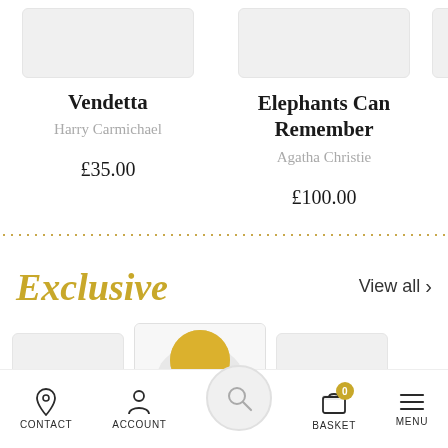Vendetta
Harry Carmichael
£35.00
Elephants Can Remember
Agatha Christie
£100.00
Exclusive
View all
CONTACT  ACCOUNT  BASKET  MENU